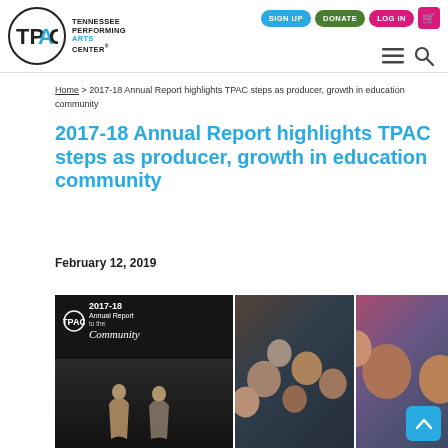TPAC Tennessee Performing Arts Center — SIGN UP | DONATE | LOG IN
Home > 2017-18 Annual Report highlights TPAC steps as producer, growth in education community
2017-18 Annual Report highlights TPAC steps as producer, growth in education community
February 12, 2019
[Figure (photo): Three images: TPAC 2017-18 Annual Report to the Community cover with two performers; crowd of people at an event; children smiling]